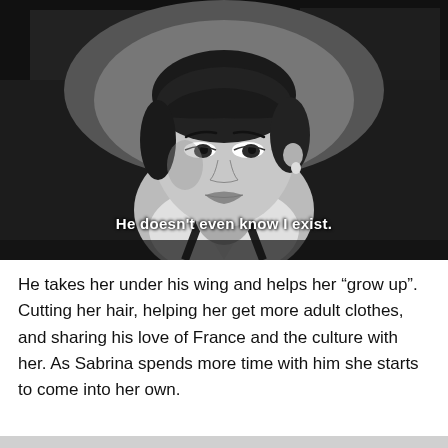[Figure (photo): Black and white film still of a young woman with short dark hair and bangs, wearing a white collared shirt with dark suspenders, looking slightly to the side. Subtitle text overlaid reads: He doesn't even know I exist.]
He doesn't even know I exist.
He takes her under his wing and helps her “grow up”. Cutting her hair, helping her get more adult clothes, and sharing his love of France and the culture with her. As Sabrina spends more time with him she starts to come into her own.